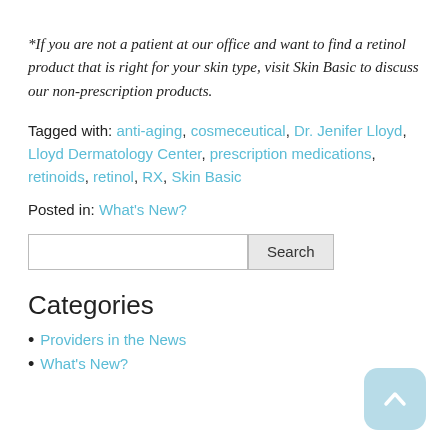*If you are not a patient at our office and want to find a retinol product that is right for your skin type, visit Skin Basic to discuss our non-prescription products.
Tagged with: anti-aging, cosmeceutical, Dr. Jenifer Lloyd, Lloyd Dermatology Center, prescription medications, retinoids, retinol, RX, Skin Basic
Posted in: What's New?
[Search input and Search button]
Categories
Providers in the News
What's New?